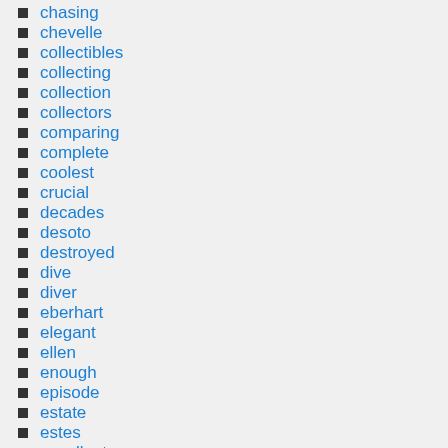chasing
chevelle
collectibles
collecting
collection
collectors
comparing
complete
coolest
crucial
decades
desoto
destroyed
dive
diver
eberhart
elegant
ellen
enough
episode
estate
estes
excellent
extremely